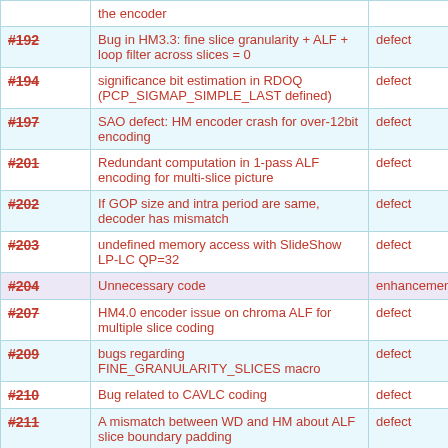| ID | Description | Type |
| --- | --- | --- |
| #192 | Bug in HM3.3: fine slice granularity + ALF + loop filter across slices = 0 | defect |
| #194 | significance bit estimation in RDOQ (PCP_SIGMAP_SIMPLE_LAST defined) | defect |
| #197 | SAO defect: HM encoder crash for over-12bit encoding | defect |
| #201 | Redundant computation in 1-pass ALF encoding for multi-slice picture | defect |
| #202 | If GOP size and intra period are same, decoder has mismatch | defect |
| #203 | undefined memory access with SlideShow LP-LC QP=32 | defect |
| #204 | Unnecessary code | enhancement |
| #207 | HM4.0 encoder issue on chroma ALF for multiple slice coding | defect |
| #209 | bugs regarding FINE_GRANULARITY_SLICES macro | defect |
| #210 | Bug related to CAVLC coding | defect |
| #211 | A mismatch between WD and HM about ALF slice boundary padding | defect |
| #212 | encoder crashes when one slice size is only 16x16 pixels | defect |
| #214 | remove transform reordering for 0.5Nx2N transform | defect |
| #215 | Decoding crashed with very low QP | defect |
| #216 | Bug in ... | defect |